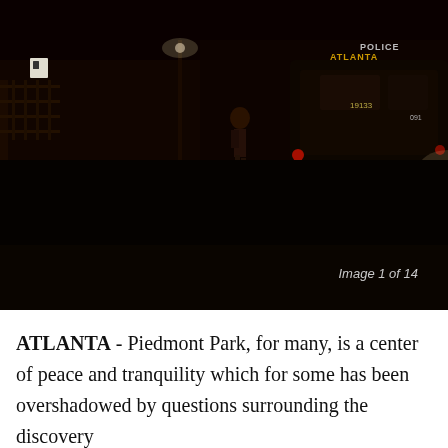[Figure (photo): Nighttime street scene showing a police vehicle with 'ATLANTA POLICE' text visible, a pedestrian walking near a crosswalk, with dark surroundings and some ambient lighting. Image counter 'Image 1 of 14' shown at bottom right of the image area.]
ATLANTA - Piedmont Park, for many, is a center of peace and tranquility which for some has been overshadowed by questions surrounding the discovery